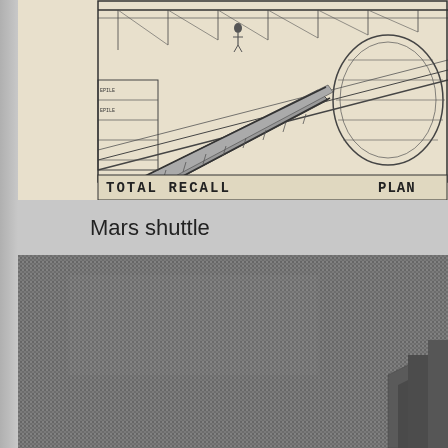[Figure (illustration): Architectural/engineering pencil sketch drawing of a futuristic transit hub or spaceport with elevated walkways, structural beams, and a large cylindrical structure. Text at bottom reads 'TOTAL RECALL' on the left and 'PLAN' on the right.]
Mars shuttle
[Figure (photo): A grainy, gray-toned photograph showing what appears to be an interior space with some structural elements visible in the lower right corner. The image is largely a uniform gray texture.]